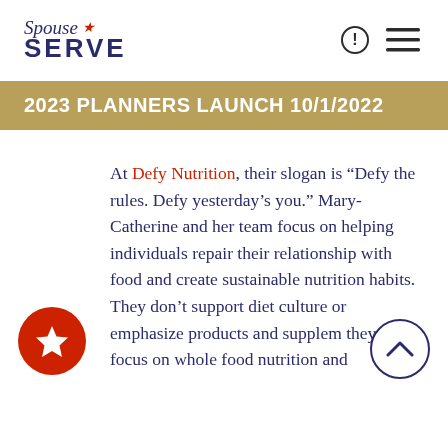Spouse Serve
2023 PLANNERS LAUNCH 10/1/2022
At Defy Nutrition, their slogan is “Defy the rules. Defy yesterday’s you.” Mary-Catherine and her team focus on helping individuals repair their relationship with food and create sustainable nutrition habits. They don’t support diet culture or emphasize products and supple... they focus on whole food nutrition and